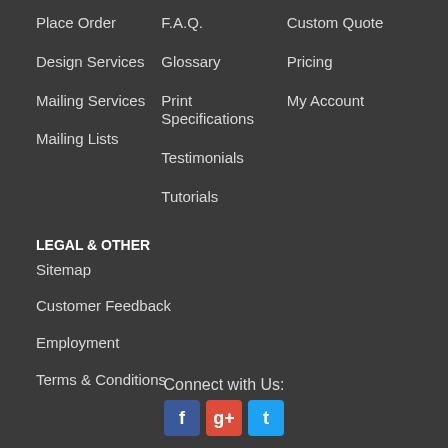Place Order
Design Services
Mailing Services
Mailing Lists
F.A.Q.
Glossary
Print Specifications
Testimonials
Tutorials
Custom Quote
Pricing
My Account
LEGAL & OTHER
Sitemap
Customer Feedback
Employment
Terms & Conditions
Connect with Us: